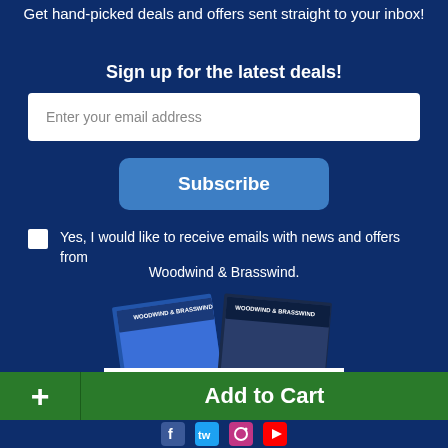Get hand-picked deals and offers sent straight to your inbox!
Sign up for the latest deals!
Enter your email address
Subscribe
Yes, I would like to receive emails with news and offers from Woodwind & Brasswind.
[Figure (illustration): Two Woodwind & Brasswind catalog covers side by side, showing musicians]
REQUEST A CATALOG
Add to Cart